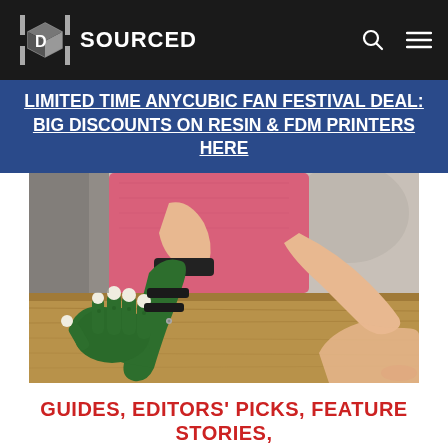3D SOURCED
LIMITED TIME ANYCUBIC FAN FESTIVAL DEAL: BIG DISCOUNTS ON RESIN & FDM PRINTERS HERE
[Figure (photo): A child wearing a green 3D-printed prosthetic arm/hand resting on a wooden table surface, with a person in a pink top visible in background.]
GUIDES, EDITORS' PICKS, FEATURE STORIES,